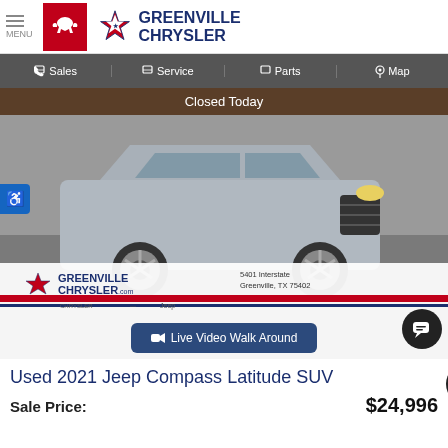MENU | RAM | GREENVILLE CHRYSLER
Sales  Service  Parts  Map
Closed Today
[Figure (photo): Silver 2021 Jeep Compass Latitude SUV in dealership showroom, with Greenville Chrysler branding overlay at bottom showing address 5401 Interstate, Greenville, TX 75402]
Live Video Walk Around
Used 2021 Jeep Compass Latitude SUV
Sale Price:  $24,996